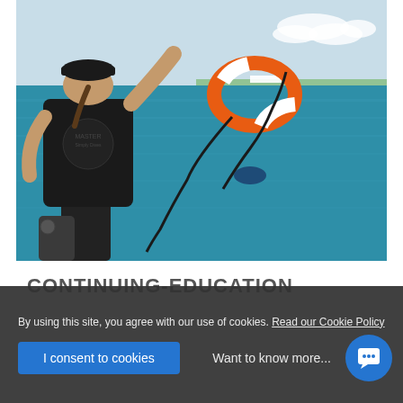[Figure (photo): Person in black t-shirt with skull design (back view) throwing an orange life preserver ring toward a swimmer in blue ocean water. Green island visible in background.]
CONTINUING-EDUCATION
By using this site, you agree with our use of cookies. Read our Cookie Policy
I consent to cookies
Want to know more...